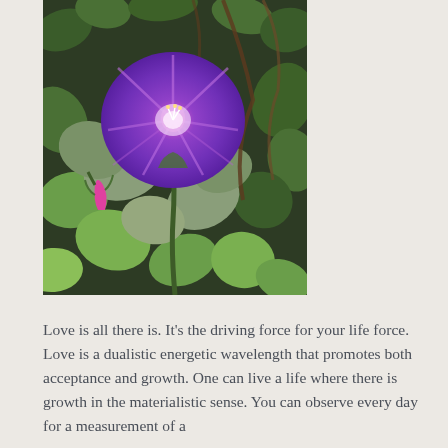[Figure (photo): A purple/violet morning glory flower in full bloom surrounded by green leaves, with a small pink bud visible to the lower left. Photo taken outdoors against a background of dense green foliage.]
Love is all there is. It's the driving force for your life force. Love is a dualistic energetic wavelength that promotes both acceptance and growth. One can live a life where there is growth in the materialistic sense. You can observe every day for a measurement of a